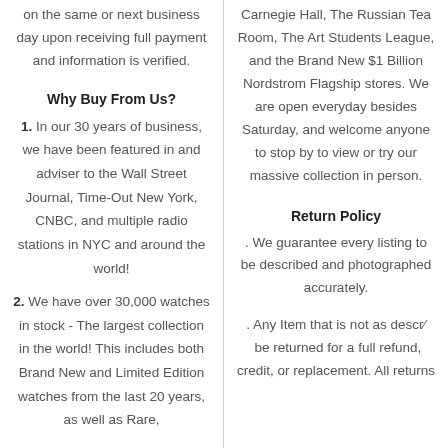on the same or next business day upon receiving full payment and information is verified.
Why Buy From Us?
1. In our 30 years of business, we have been featured in and adviser to the Wall Street Journal, Time-Out New York, CNBC, and multiple radio stations in NYC and around the world!
2. We have over 30,000 watches in stock - The largest collection in the world! This includes both Brand New and Limited Edition watches from the last 20 years, as well as Rare,
Carnegie Hall, The Russian Tea Room, The Art Students League, and the Brand New $1 Billion Nordstrom Flagship stores. We are open everyday besides Saturday, and welcome anyone to stop by to view or try our massive collection in person.
Return Policy
. We guarantee every listing to be described and photographed accurately.
. Any Item that is not as described can be returned for a full refund, store credit, or replacement. All returns